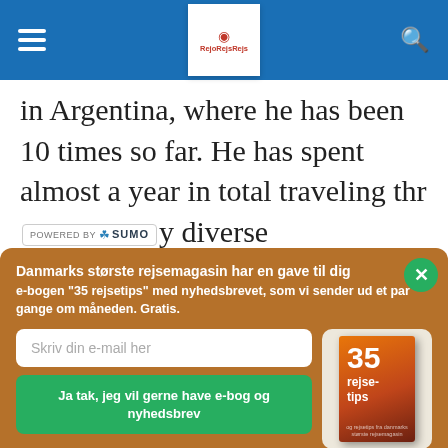RejoRejsRejs — navigation header
in Argentina, where he has been 10 times so far. He has spent almost a year in total traveling thro [POWERED BY SUMO] y diverse
Danmarks største rejsemagasin har en gave til dig
e-bogen "35 rejsetips" med nyhedsbrevet, som vi sender ud et par gange om måneden. Gratis.
Skriv din e-mail her
Ja tak, jeg vil gerne have e-bog og nyhedsbrev